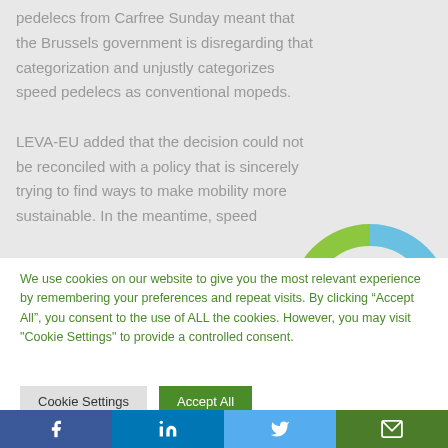pedelecs from Carfree Sunday meant that the Brussels government is disregarding that categorization and unjustly categorizes speed pedelecs as conventional mopeds.

LEVA-EU added that the decision could not be reconciled with a policy that is sincerely trying to find ways to make mobility more sustainable. In the meantime, speed
[Figure (other): Partially visible donut chart with blue and green segments, overlaid on the article text]
We use cookies on our website to give you the most relevant experience by remembering your preferences and repeat visits. By clicking “Accept All”, you consent to the use of ALL the cookies. However, you may visit "Cookie Settings" to provide a controlled consent.
Cookie Settings
Accept All
f  in  Twitter bird icon  Email icon